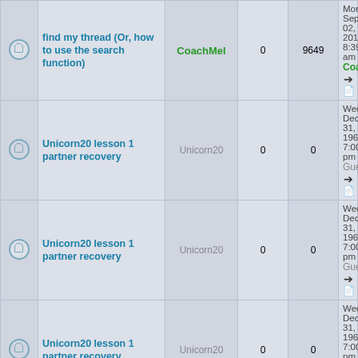|  | Topic | Author | Replies | Views | Last Post |
| --- | --- | --- | --- | --- | --- |
|  | find my thread (Or, how to use the search function) | CoachMel | 0 | 9649 | Mon Sep 02, 2013 8:39 am
CoachMel |
|  | Unicorn20 lesson 1 partner recovery | Unicorn20 | 0 | 0 | Wed Dec 31, 1969 7:00 pm
Guest |
|  | Unicorn20 lesson 1 partner recovery | Unicorn20 | 0 | 0 | Wed Dec 31, 1969 7:00 pm
Guest |
|  | Unicorn20 lesson 1 partner recovery | Unicorn20 | 0 | 0 | Wed Dec 31, 1969 7:00 pm
Guest |
|  | Unicorn20 lesson 1 partner recovery | Unicorn20 | 0 | 0 | Wed Dec 31, 1969 7:00 pm
Guest |
|  | Unicorn20 lesson 1 partner recovery | Unicorn20 | 0 | 0 | Wed Dec 31, 1969 7:00 pm
Guest |
Display topics from previous: All Topics  Sort by Post time  Descending  Go